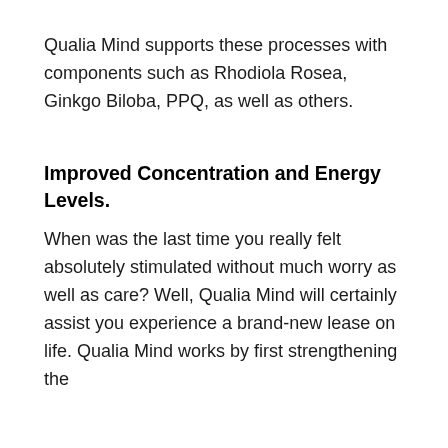Qualia Mind supports these processes with components such as Rhodiola Rosea, Ginkgo Biloba, PPQ, as well as others.
Improved Concentration and Energy Levels.
When was the last time you really felt absolutely stimulated without much worry as well as care? Well, Qualia Mind will certainly assist you experience a brand-new lease on life. Qualia Mind works by first strengthening the